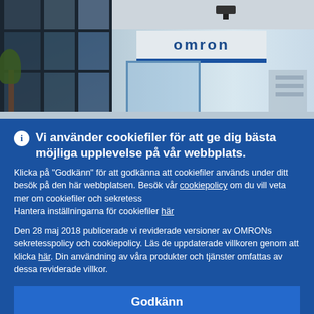[Figure (photo): Interior photo of an Omron office/building entrance showing glass windows, a ceiling, a projector, glass doors, and an Omron logo sign on the wall.]
Vi använder cookiefiler för att ge dig bästa möjliga upplevelse på vår webbplats.
Klicka på "Godkänn" för att godkänna att cookiefiler används under ditt besök på den här webbplatsen. Besök vår cookiepolicy om du vill veta mer om cookiefiler och sekretess
Hantera inställningarna för cookiefiler här
Den 28 maj 2018 publicerade vi reviderade versioner av OMRONs sekretesspolicy och cookiepolicy. Läs de uppdaterade villkoren genom att klicka här. Din användning av våra produkter och tjänster omfattas av dessa reviderade villkor.
Godkänn